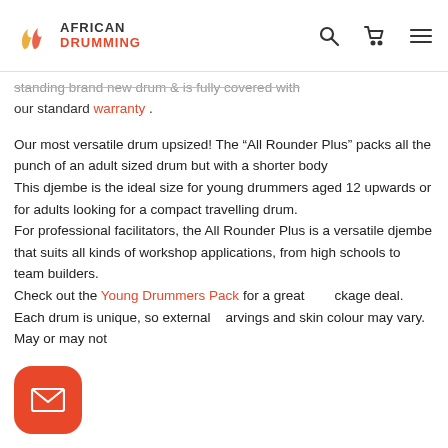African Drumming [logo with navigation icons]
...standing brand new drum & is fully covered with our standard warranty .
Our most versatile drum upsized! The “All Rounder Plus” packs all the punch of an adult sized drum but with a shorter body
This djembe is the ideal size for young drummers aged 12 upwards or for adults looking for a compact travelling drum.
For professional facilitators, the All Rounder Plus is a versatile djembe that suits all kinds of workshop applications, from high schools to team builders.
Check out the Young Drummers Pack for a great package deal. Each drum is unique, so external carvings and skin colour may vary. May or may not...